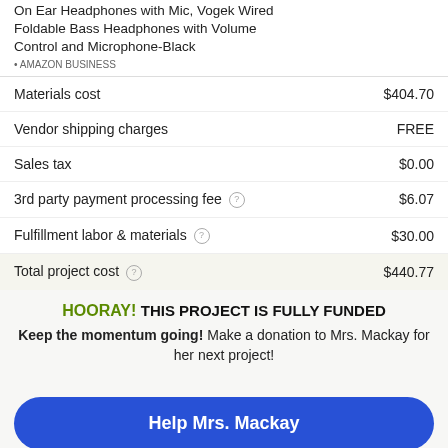On Ear Headphones with Mic, Vogek Wired Foldable Bass Headphones with Volume Control and Microphone-Black
• AMAZON BUSINESS
|  |  |
| --- | --- |
| Materials cost | $404.70 |
| Vendor shipping charges | FREE |
| Sales tax | $0.00 |
| 3rd party payment processing fee ? | $6.07 |
| Fulfillment labor & materials ? | $30.00 |
| Total project cost ? | $440.77 |
HOORAY! THIS PROJECT IS FULLY FUNDED
Keep the momentum going! Make a donation to Mrs. Mackay for her next project!
Help Mrs. Mackay